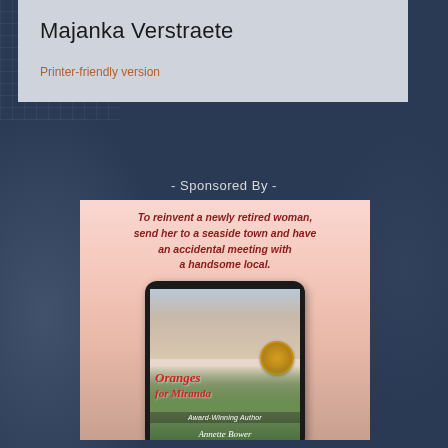Majanka Verstraete
Printer-friendly version
- Sponsored By -
[Figure (illustration): Book advertisement for 'Oranges for Miranda' by Award-Winning Author Annette Bower. Shows a tablet device displaying the book cover with a couple image, red script title 'Oranges for Miranda', a cityscape, and author name. Pink/peach banner background with italic tagline text: 'To reinvent a newly retired woman, send her to a seaside town and have an accidental meeting with a handsome local.']